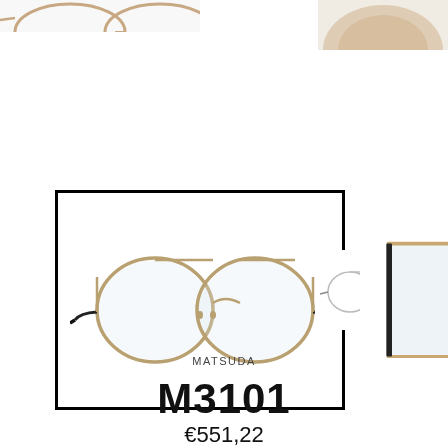[Figure (photo): Partial cropped view of eyeglasses product from row above — top-left corner, showing partial frames]
[Figure (photo): Partial cropped view of eyeglasses product from row above — top-right corner, showing partial tan/beige frame close-up]
[Figure (photo): Main selected product image: Matsuda M3101 gold and black round eyeglasses, front view, shown inside a black selection border box]
[Figure (photo): Small front/side thumbnail of Matsuda M3101 eyeglasses — minimalist side profile view]
[Figure (photo): Close-up detail of Matsuda M3101 eyeglasses — showing lens and temple arm with decorative detailing]
MATSUDA
M3101
€551,22